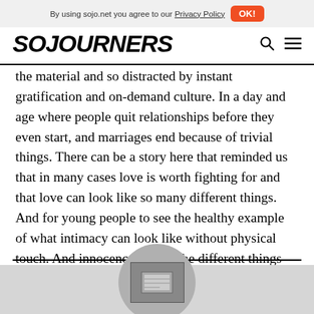By using sojo.net you agree to our Privacy Policy  OK!
[Figure (logo): SOJOURNERS logo in bold italic uppercase black text]
the material and so distracted by instant gratification and on-demand culture. In a day and age where people quit relationships before they even start, and marriages end because of trivial things. There can be a story here that reminded us that in many cases love is worth fighting for and that love can look like so many different things. And for young people to see the healthy example of what intimacy can look like without physical touch. And innocence and all the different things that are portrayed in this movie, I just thought that it was the right time and so we went for it.
[Figure (photo): Circular cropped photo partially visible at the bottom of the page, showing what appears to be a framed image or device]